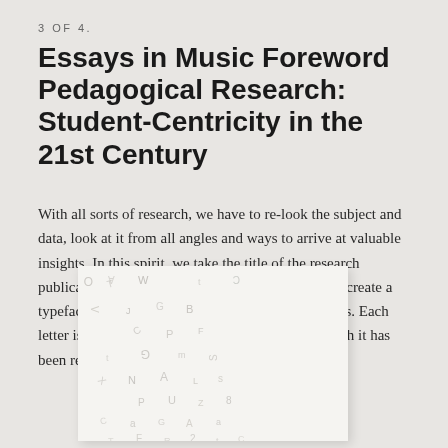3 OF 4.
Essays in Music Foreword Pedagogical Research: Student-Centricity in the 21st Century
With all sorts of research, we have to re-look the subject and data, look at it from all angles and ways to arrive at valuable insights. In this spirit, we take the title of the research publication and rotate, flip and reflect the letters to create a typeface that is made up of these transformed letters. Each letter is still recognisable as a character, even though it has been re-looked in a new and exciting way.
[Figure (illustration): A white card showing transformed/rotated letters of the alphabet arranged in a grid pattern, illustrating the typeface concept described in the text.]